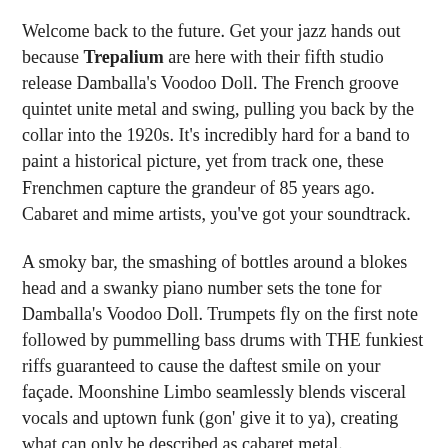Welcome back to the future. Get your jazz hands out because Trepalium are here with their fifth studio release Damballa's Voodoo Doll. The French groove quintet unite metal and swing, pulling you back by the collar into the 1920s. It's incredibly hard for a band to paint a historical picture, yet from track one, these Frenchmen capture the grandeur of 85 years ago. Cabaret and mime artists, you've got your soundtrack.
A smoky bar, the smashing of bottles around a blokes head and a swanky piano number sets the tone for Damballa's Voodoo Doll. Trumpets fly on the first note followed by pummelling bass drums with THE funkiest riffs guaranteed to cause the daftest smile on your façade. Moonshine Limbo seamlessly blends visceral vocals and uptown funk (gon' give it to ya), creating what can only be described as cabaret metal.
Title track Damballa's Voodoo Doll rolls up a dramatic crescendo of cymbals packed with striking trumpets, trombones and enough trumps to power British Gas. We hear the full extent of Cédric